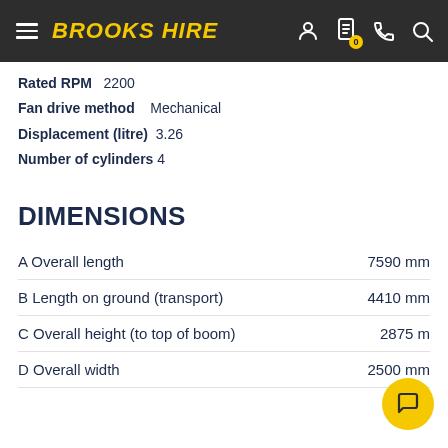BROOKS HIRE
Rated RPM   2200
Fan drive method   Mechanical
Displacement (litre)   3.26
Number of cylinders   4
DIMENSIONS
A Overall length   7590 mm
B Length on ground (transport)   4410 mm
C Overall height (to top of boom)   2875 mm
D Overall width   2500 mm